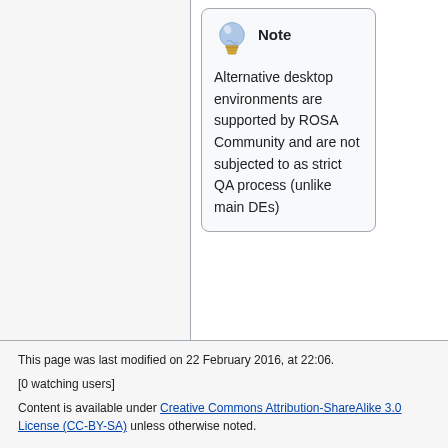Note
Alternative desktop environments are supported by ROSA Community and are not subjected to as strict QA process (unlike main DEs)
This page was last modified on 22 February 2016, at 22:06.
[0 watching users]
Content is available under Creative Commons Attribution-ShareAlike 3.0 License (CC-BY-SA) unless otherwise noted.